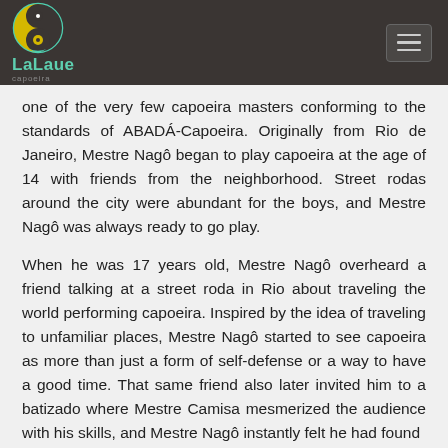LaLaue capoeira
one of the very few capoeira masters conforming to the standards of ABADÁ-Capoeira. Originally from Rio de Janeiro, Mestre Nagô began to play capoeira at the age of 14 with friends from the neighborhood. Street rodas around the city were abundant for the boys, and Mestre Nagô was always ready to go play.
When he was 17 years old, Mestre Nagô overheard a friend talking at a street roda in Rio about traveling the world performing capoeira. Inspired by the idea of traveling to unfamiliar places, Mestre Nagô started to see capoeira as more than just a form of self-defense or a way to have a good time. That same friend also later invited him to a batizado where Mestre Camisa mesmerized the audience with his skills, and Mestre Nagô instantly felt he had found